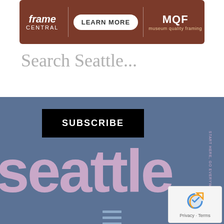[Figure (logo): Frame Central / Learn More / Museum Quality Framing banner advertisement on brown background]
Search Seattle...
[Figure (screenshot): Blue section with black SUBSCRIBE button, large pink 'seattle' text, vertical text 'START HERE, GO EVERYWHERE', and hamburger menu icon]
[Figure (logo): reCAPTCHA widget with Privacy and Terms links]